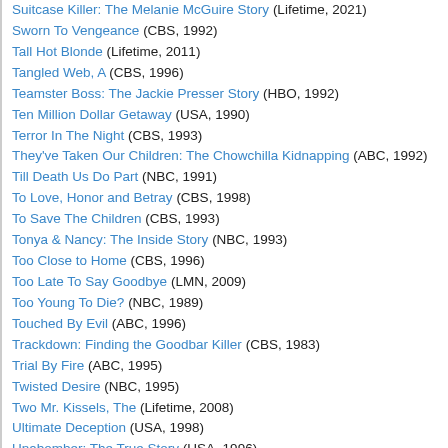Suitcase Killer: The Melanie McGuire Story (Lifetime, 2021)
Sworn To Vengeance (CBS, 1992)
Tall Hot Blonde (Lifetime, 2011)
Tangled Web, A (CBS, 1996)
Teamster Boss: The Jackie Presser Story (HBO, 1992)
Ten Million Dollar Getaway (USA, 1990)
Terror In The Night (CBS, 1993)
They've Taken Our Children: The Chowchilla Kidnapping (ABC, 1992)
Till Death Us Do Part (NBC, 1991)
To Love, Honor and Betray (CBS, 1998)
To Save The Children (CBS, 1993)
Tonya & Nancy: The Inside Story (NBC, 1993)
Too Close to Home (CBS, 1996)
Too Late To Say Goodbye (LMN, 2009)
Too Young To Die? (NBC, 1989)
Touched By Evil (ABC, 1996)
Trackdown: Finding the Goodbar Killer (CBS, 1983)
Trial By Fire (ABC, 1995)
Twisted Desire (NBC, 1995)
Two Mr. Kissels, The (Lifetime, 2008)
Ultimate Deception (USA, 1998)
Unabomber: The True Story (USA, 1996)
Unholy Matrimony (CBS, 1988)
Unspeakable Acts (ABC, 1989)
Unspoken Truth, The (NBC, 1995)
Verdict Without Truth (NBC, 19--)